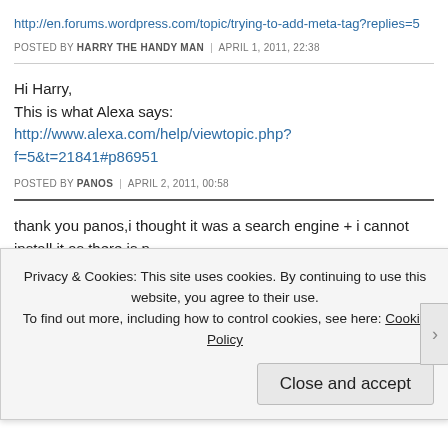http://en.forums.wordpress.com/topic/trying-to-add-meta-tag?replies=5
POSTED BY HARRY THE HANDY MAN | APRIL 1, 2011, 22:38
Hi Harry,
This is what Alexa says:
http://www.alexa.com/help/viewtopic.php?f=5&t=21841#p86951
POSTED BY PANOS | APRIL 2, 2011, 00:58
thank you panos,i thought it was a search engine + i cannot install it as there is n
POSTED BY HARRY THE HANDY MAN | APRIL 2, 2011, 15:12
You're welcome.
Privacy & Cookies: This site uses cookies. By continuing to use this website, you agree to their use.
To find out more, including how to control cookies, see here: Cookie Policy
Close and accept